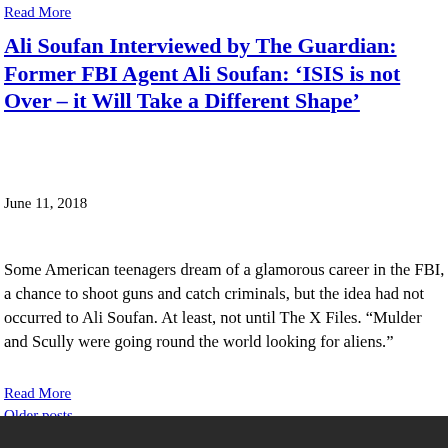Read More
Ali Soufan Interviewed by The Guardian: Former FBI Agent Ali Soufan: ‘ISIS is not Over – it Will Take a Different Shape’
June 11, 2018
Some American teenagers dream of a glamorous career in the FBI, a chance to shoot guns and catch criminals, but the idea had not occurred to Ali Soufan. At least, not until The X Files. “Mulder and Scully were going round the world looking for aliens.”
Read More
Older posts